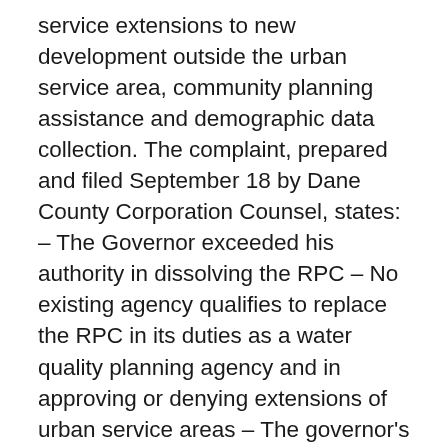service extensions to new development outside the urban service area, community planning assistance and demographic data collection. The complaint, prepared and filed September 18 by Dane County Corporation Counsel, states: -- The Governor exceeded his authority in dissolving the RPC -- No existing agency qualifies to replace the RPC in its duties as a water quality planning agency and in approving or denying extensions of urban service areas -- The governor's findings regarding the RPC's outstanding debts and expenses, and unexpended funds are unsubstantiated -- The dissolution would cause confusion and uncertainty in planning, causing irreparable harm. The case has been assigned to Dane County Circuit Court Judge Moria Krueger, who